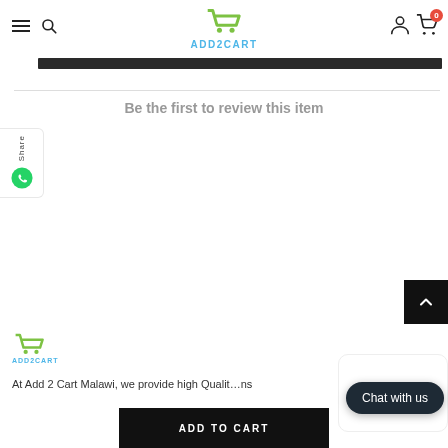ADD2CART header with navigation, search, logo, user and cart icons
Be the first to review this item
[Figure (logo): ADD2CART shopping cart logo in footer]
At Add 2 Cart Malawi, we provide high Quality...ns
Chat with us
ADD TO CART